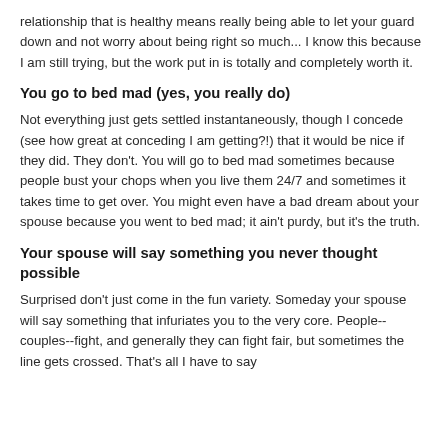relationship that is healthy means really being able to let your guard down and not worry about being right so much... I know this because I am still trying, but the work put in is totally and completely worth it.
You go to bed mad (yes, you really do)
Not everything just gets settled instantaneously, though I concede (see how great at conceding I am getting?!) that it would be nice if they did. They don't. You will go to bed mad sometimes because people bust your chops when you live them 24/7 and sometimes it takes time to get over. You might even have a bad dream about your spouse because you went to bed mad; it ain't purdy, but it's the truth.
Your spouse will say something you never thought possible
Surprised don't just come in the fun variety. Someday your spouse will say something that infuriates you to the very core. People--couples--fight, and generally they can fight fair, but sometimes the line gets crossed. That's all I have to say